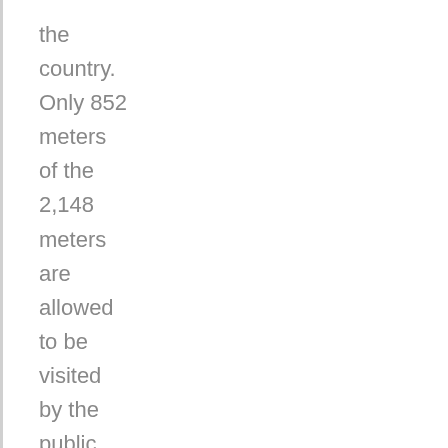the country. Only 852 meters of the 2,148 meters are allowed to be visited by the public.
Banska Stiavnica